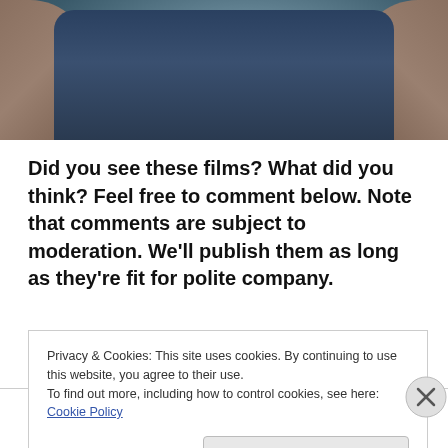[Figure (photo): Cropped photo of a person wearing a dark blue sleeveless shirt with tattoos visible on arms, outdoor background]
Did you see these films? What did you think? Feel free to comment below. Note that comments are subject to moderation. We'll publish them as long as they're fit for polite company.
Spread the word on:
Privacy & Cookies: This site uses cookies. By continuing to use this website, you agree to their use.
To find out more, including how to control cookies, see here: Cookie Policy